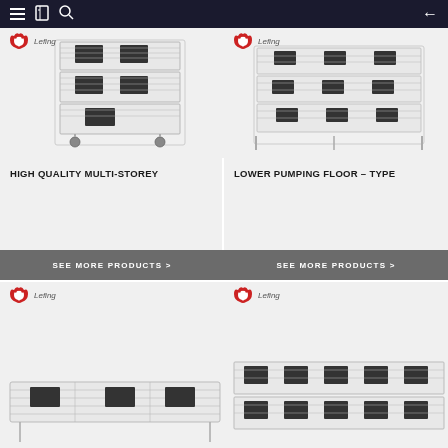Navigation bar with hamburger menu, bookmark icon, search icon, and back arrow
[Figure (photo): Multi-storey rabbit/poultry cage on wheels with Lefing logo, white wire mesh construction, multiple tiers with black feeding troughs]
[Figure (photo): Lower pumping floor-type rabbit/poultry cage with Lefing logo, white wire mesh construction, three tiers with black feeding troughs]
HIGH QUALITY MULTI-STOREY
LOWER PUMPING FLOOR – TYPE
SEE MORE PRODUCTS >
SEE MORE PRODUCTS >
[Figure (photo): Lefing branded flat single-tier cage product, white wire mesh, bottom portion visible]
[Figure (photo): Lefing branded cage product with multiple feeding troughs, white wire mesh, two visible tiers]